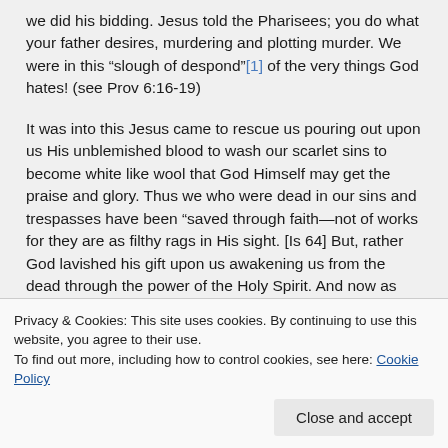we did his bidding. Jesus told the Pharisees; you do what your father desires, murdering and plotting murder. We were in this “slough of despond”[1] of the very things God hates! (see Prov 6:16-19)
It was into this Jesus came to rescue us pouring out upon us His unblemished blood to wash our scarlet sins to become white like wool that God Himself may get the praise and glory. Thus we who were dead in our sins and trespasses have been “saved through faith—not of works for they are as filthy rags in His sight. [Is 64] But, rather God lavished his gift upon us awakening us from the dead through the power of the Holy Spirit. And now as alive we are to perform what He
Privacy & Cookies: This site uses cookies. By continuing to use this website, you agree to their use.
To find out more, including how to control cookies, see here: Cookie Policy
Close and accept